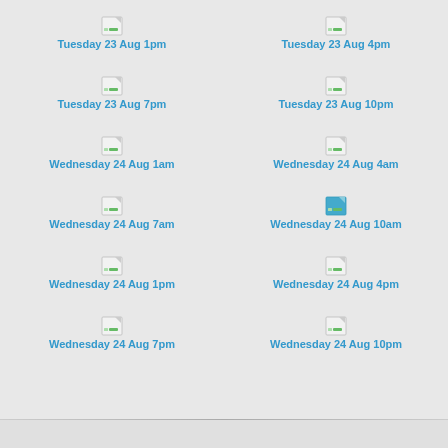Tuesday 23 Aug 1pm
Tuesday 23 Aug 4pm
Tuesday 23 Aug 7pm
Tuesday 23 Aug 10pm
Wednesday 24 Aug 1am
Wednesday 24 Aug 4am
Wednesday 24 Aug 7am
Wednesday 24 Aug 10am
Wednesday 24 Aug 1pm
Wednesday 24 Aug 4pm
Wednesday 24 Aug 7pm
Wednesday 24 Aug 10pm